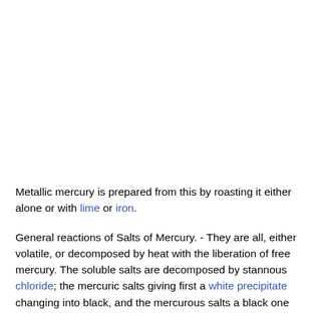Metallic mercury is prepared from this by roasting it either alone or with lime or iron.
General reactions of Salts of Mercury. - They are all, either volatile, or decomposed by heat with the liberation of free mercury. The soluble salts are decomposed by stannous chloride; the mercuric salts giving first a white precipitate changing into black, and the mercurous salts a black one of finely divided mercury at once. Mercurous salts are most readily distinguished from mercuric salts by their reactions with